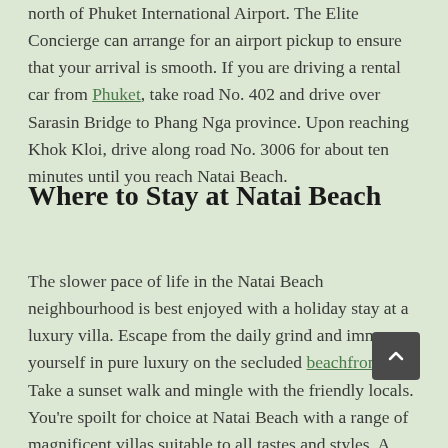Natai Beach is located approximately 30 minutes north of Phuket International Airport. The Elite Concierge can arrange for an airport pickup to ensure that your arrival is smooth. If you are driving a rental car from Phuket, take road No. 402 and drive over Sarasin Bridge to Phang Nga province. Upon reaching Khok Kloi, drive along road No. 3006 for about ten minutes until you reach Natai Beach.
Where to Stay at Natai Beach
The slower pace of life in the Natai Beach neighbourhood is best enjoyed with a holiday stay at a luxury villa. Escape from the daily grind and immerse yourself in pure luxury on the secluded beachfront. Take a sunset walk and mingle with the friendly locals. You're spoilt for choice at Natai Beach with a range of magnificent villas suitable to all tastes and styles. A stay in a luxury villa has so many advantages including space to spread